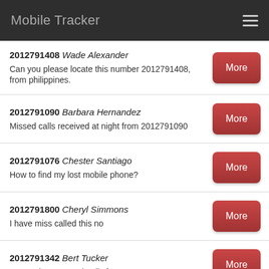Mobile Tracker
2012791408 Wade Alexander
Can you please locate this number 2012791408, from philippines.
2012791090 Barbara Hernandez
Missed calls received at night from 2012791090
2012791076 Chester Santiago
How to find my lost mobile phone?
2012791800 Cheryl Simmons
I have miss called this no
2012791342 Bert Tucker
Not getting proper details for 2012791342